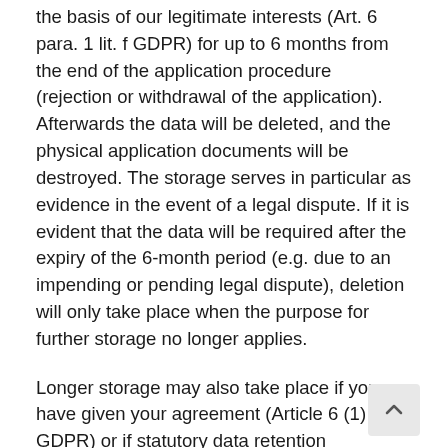the basis of our legitimate interests (Art. 6 para. 1 lit. f GDPR) for up to 6 months from the end of the application procedure (rejection or withdrawal of the application). Afterwards the data will be deleted, and the physical application documents will be destroyed. The storage serves in particular as evidence in the event of a legal dispute. If it is evident that the data will be required after the expiry of the 6-month period (e.g. due to an impending or pending legal dispute), deletion will only take place when the purpose for further storage no longer applies.
Longer storage may also take place if you have given your agreement (Article 6 (1) (a) GDPR) or if statutory data retention requirements preclude the deletion.